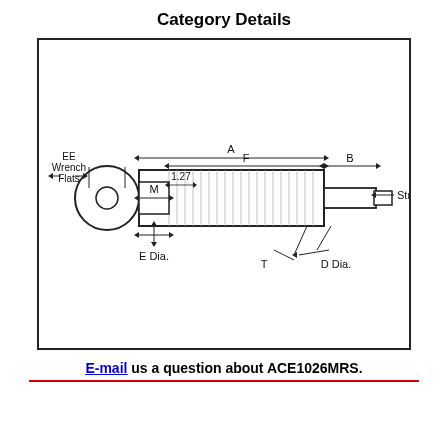Category Details
[Figure (engineering-diagram): Engineering schematic of a shock absorber / hydraulic damper component (ACE1026MRS). The diagram shows a side view and end view. Labels include: EE Wrench Flats, M, E Dia., F, 1.27, A, B, Stroke, T, D Dia.]
E-mail us a question about ACE1026MRS.